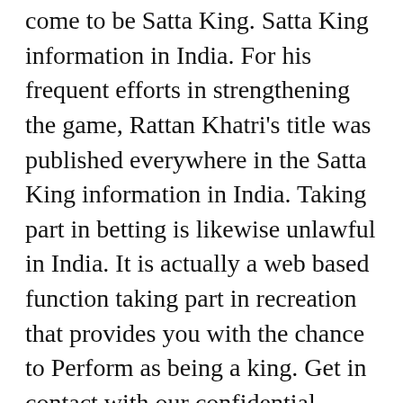come to be Satta King. Satta King information in India. For his frequent efforts in strengthening the game, Rattan Khatri's title was published everywhere in the Satta King information in India. Taking part in betting is likewise unlawful in India. It is actually a web based function taking part in recreation that provides you with the chance to Perform as being a king. Get in contact with our confidential website along with enjoy participating in. This Site is the genuine portal in which you will find the effects of Satta video games you've got performed in Delhi, Ghaziabad, Gali, Faridabad, and Desawar. It's an online portal which helps clients on...